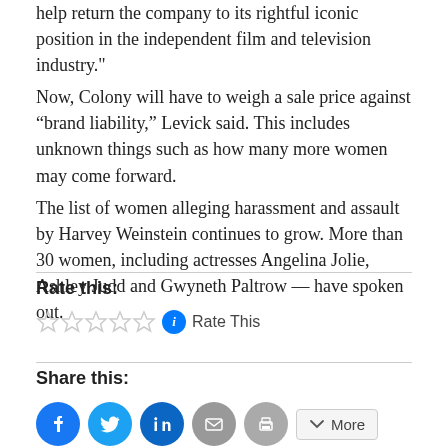help return the company to its rightful iconic position in the independent film and television industry."
Now, Colony will have to weigh a sale price against “brand liability,” Levick said. This includes unknown things such as how many more women may come forward.
The list of women alleging harassment and assault by Harvey Weinstein continues to grow. More than 30 women, including actresses Angelina Jolie, Ashley Judd and Gwyneth Paltrow — have spoken out.
Rate this:
[Figure (other): Five empty star rating icons followed by a blue info circle icon and 'Rate This' text]
Share this:
[Figure (infographic): Social share buttons: Facebook (blue circle), Twitter (blue circle), LinkedIn (blue circle), Email (grey circle), Print (grey circle), and a More button]